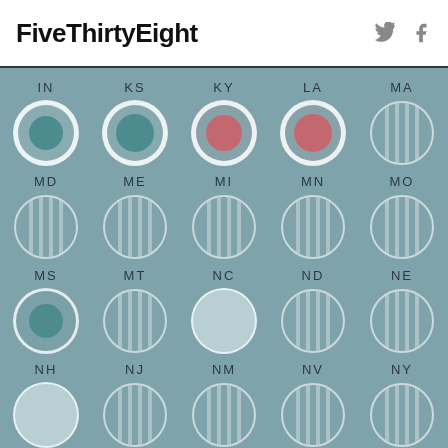FiveThirtyEight
[Figure (infographic): State-by-state election result circles grid. Each state shown as a circle with label. Teal filled = Democrat leaning, Red/pink filled = Republican leaning, Striped = uncertain/no data, Light = leaning. States shown: IN(teal), KS(teal), KY(red), LA(red), MA(striped), MD(striped), ME(striped), MI(striped), MN(striped), MO(striped), MS(teal no ring), MT(striped), NC(light blank), ND(striped), NE(striped), NH(light), NJ(striped), NM(striped), NV(striped), NY(striped), OH(partial), OK(partial), OR(partial), PA(partial), RI(partial)]